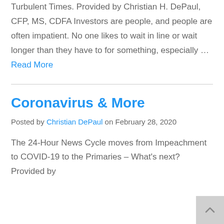Turbulent Times. Provided by Christian H. DePaul, CFP, MS, CDFA Investors are people, and people are often impatient. No one likes to wait in line or wait longer than they have to for something, especially … Read More
Coronavirus & More
Posted by Christian DePaul on February 28, 2020
The 24-Hour News Cycle moves from Impeachment to COVID-19 to the Primaries – What's next? Provided by Christian H. DePaul, CFP, MS, CDFA